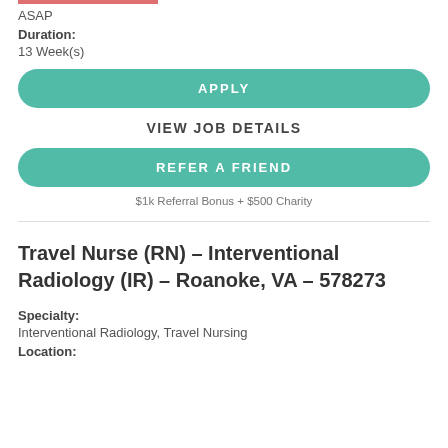ASAP
Duration:
13 Week(s)
APPLY
VIEW JOB DETAILS
REFER A FRIEND
$1k Referral Bonus + $500 Charity
Travel Nurse (RN) – Interventional Radiology (IR) – Roanoke, VA – 578273
Specialty:
Interventional Radiology, Travel Nursing
Location: